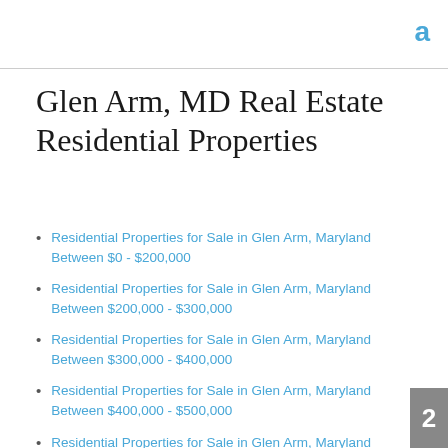a
Glen Arm, MD Real Estate Residential Properties
Residential Properties for Sale in Glen Arm, Maryland Between $0 - $200,000
Residential Properties for Sale in Glen Arm, Maryland Between $200,000 - $300,000
Residential Properties for Sale in Glen Arm, Maryland Between $300,000 - $400,000
Residential Properties for Sale in Glen Arm, Maryland Between $400,000 - $500,000
Residential Properties for Sale in Glen Arm, Maryland Between $500,000 - $600,000
Residential Properties for Sale in Glen Arm, Maryland